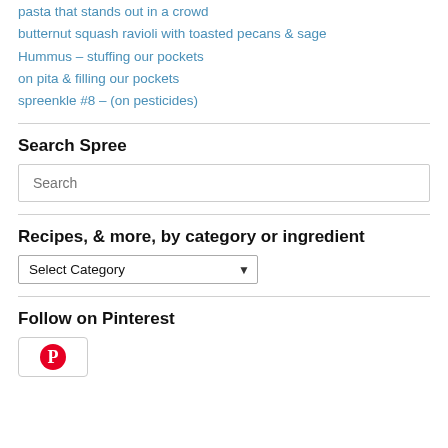pasta that stands out in a crowd
butternut squash ravioli with toasted pecans & sage
Hummus – stuffing our pockets
on pita & filling our pockets
spreenkle #8 – (on pesticides)
Search Spree
Search
Recipes, & more, by category or ingredient
Select Category
Follow on Pinterest
[Figure (logo): Pinterest logo icon, red circle with P]